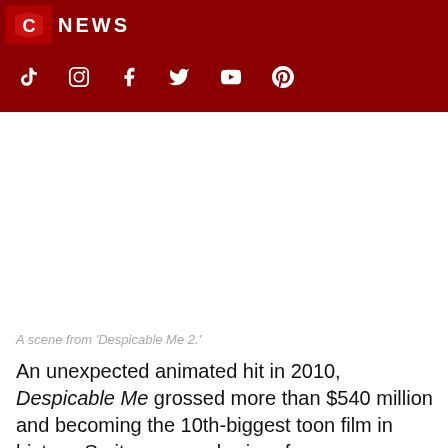NEWS
A scene from 'Despicable Me 2.'
An unexpected animated hit in 2010, Despicable Me grossed more than $540 million and becoming the 10th-biggest toon film in history. So it was a no-brainer for